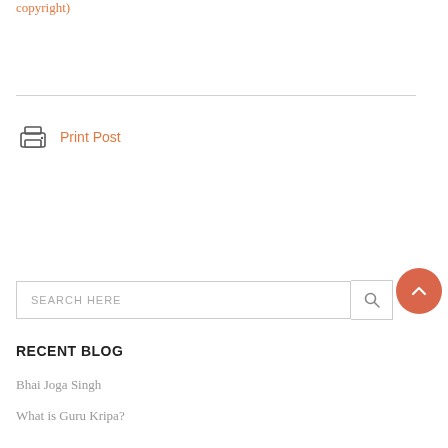copyright)
Print Post
SEARCH HERE
RECENT BLOG
Bhai Joga Singh
What is Guru Kripa?